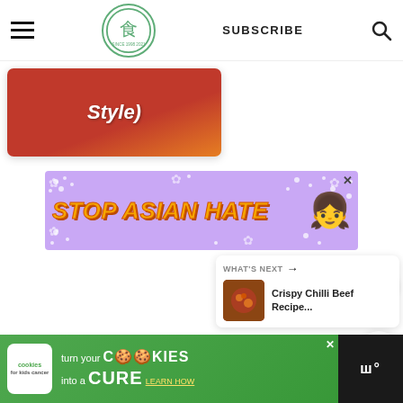SUBSCRIBE
[Figure (screenshot): Partial article card showing red/orange background with text 'Style)']
[Figure (infographic): STOP ASIAN HATE advertisement banner with purple background, yellow/orange bold text, white floral decorations, and animated character illustration]
[Figure (infographic): Heart/like button (green circle with white heart icon) showing count of 11, and share button below]
11
[Figure (infographic): WHAT'S NEXT panel showing Crispy Chilli Beef Recipe... with food thumbnail]
[Figure (infographic): Bottom advertisement: Cookies for Kids Cancer - turn your cookies into a CURE LEARN HOW, with Monocle logo on right]